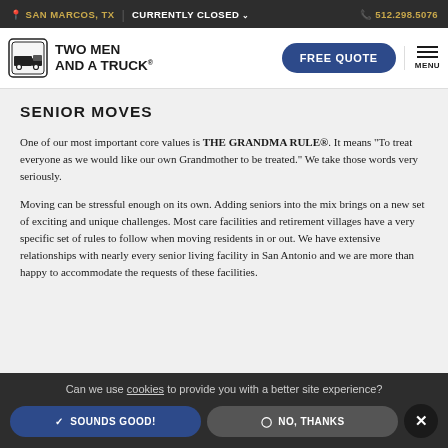SAN MARCOS, TX  |  CURRENTLY CLOSED  ˅  |  512.298.5076
[Figure (logo): Two Men and a Truck logo with truck icon and text, plus Free Quote button and Menu]
SENIOR MOVES
One of our most important core values is THE GRANDMA RULE®. It means "To treat everyone as we would like our own Grandmother to be treated." We take those words very seriously.
Moving can be stressful enough on its own. Adding seniors into the mix brings on a new set of exciting and unique challenges. Most care facilities and retirement villages have a very specific set of rules to follow when moving residents in or out. We have extensive relationships with nearly every senior living facility in San Antonio and we are more than happy to accommodate the requests of these facilities.
Can we use cookies to provide you with a better site experience?
✓  SOUNDS GOOD!   ◎  NO, THANKS   ×